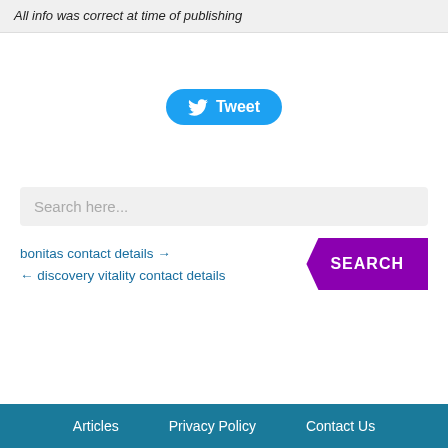All info was correct at time of publishing
[Figure (other): Twitter Tweet button with bird icon]
Search here...
bonitas contact details →
← discovery vitality contact details
Articles   Privacy Policy   Contact Us